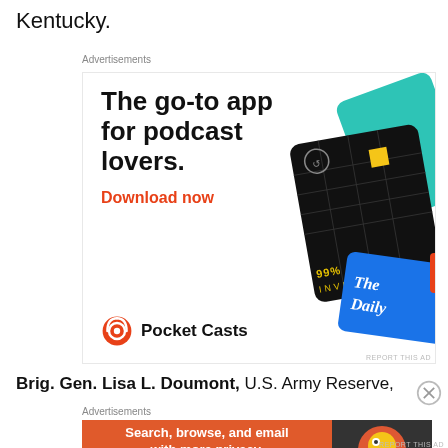Kentucky.
Advertisements
[Figure (illustration): Pocket Casts advertisement: 'The go-to app for podcast lovers. Download now' with podcast card images (99% Invisible, The Daily, On...) and Pocket Casts logo]
Brig. Gen. Lisa L. Doumont, U.S. Army Reserve,
Advertisements
[Figure (illustration): DuckDuckGo advertisement: 'Search, browse, and email with more privacy. All in One Free App' with DuckDuckGo logo on dark background]